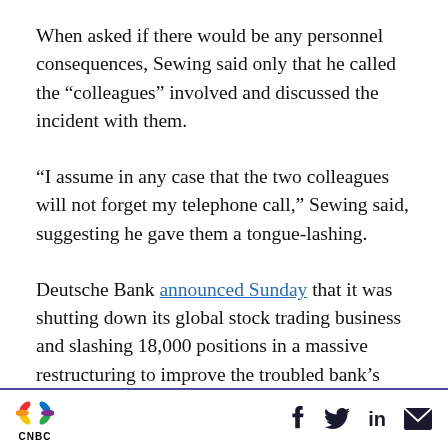When asked if there would be any personnel consequences, Sewing said only that he called the “colleagues” involved and discussed the incident with them.
“I assume in any case that the two colleagues will not forget my telephone call,” Sewing said, suggesting he gave them a tongue-lashing.
Deutsche Bank announced Sunday that it was shutting down its global stock trading business and slashing 18,000 positions in a massive restructuring to improve the troubled bank’s
CNBC logo with social icons: Facebook, Twitter, LinkedIn, Email